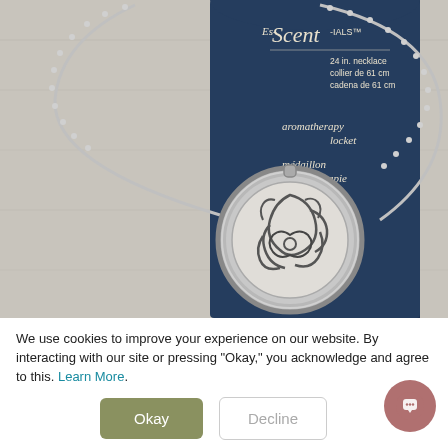[Figure (photo): Product photo of Es-Scent-IALS aromatherapy locket necklace on dark blue product card. The card reads 'Es-Scent-IALS™ 24 in. necklace / collier de 61 cm / cadena de 61 cm' and 'aromatherapy locket / médaillon aromathérapie / dije para aromaterapia'. A silver round locket with filigree swirl design hangs on a ball chain, displayed against a light gray wooden surface background.]
We use cookies to improve your experience on our website. By interacting with our site or pressing "Okay," you acknowledge and agree to this. Learn More.